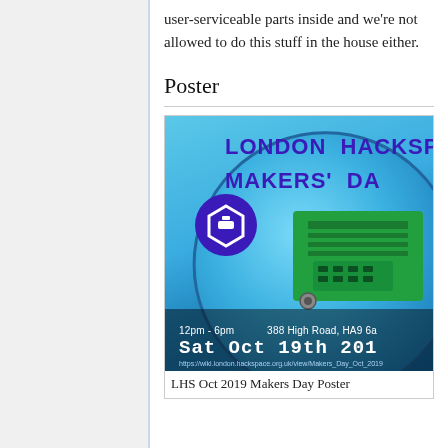user-serviceable parts inside and we're not allowed to do this stuff in the house either.
Poster
[Figure (photo): Photograph of a circuit board and bulb components with text overlay: LONDON HACKSPACE MAKERS' DAY, 12pm - 6pm, 388 High Road HA9 6a..., Sat Oct 19th 2019, and a URL to the wiki page. London Hackspace logo visible.]
LHS Oct 2019 Makers Day Poster